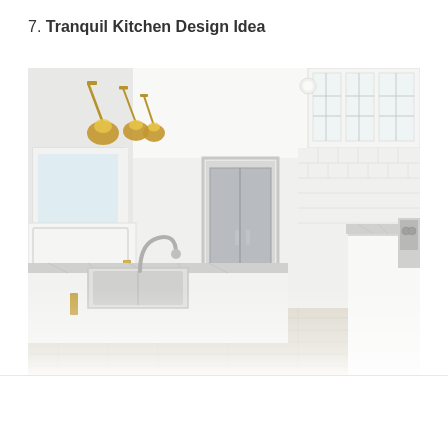7. Tranquil Kitchen Design Idea
[Figure (photo): Bright, airy white kitchen with gold/brass wall-mounted pendant lights, white shaker cabinets with glass fronts, marble countertops, farmhouse-style sink with chrome gooseneck faucet, white subway tile backsplash, light hardwood floors, and a gray built-in storage unit visible through a doorway in the background.]